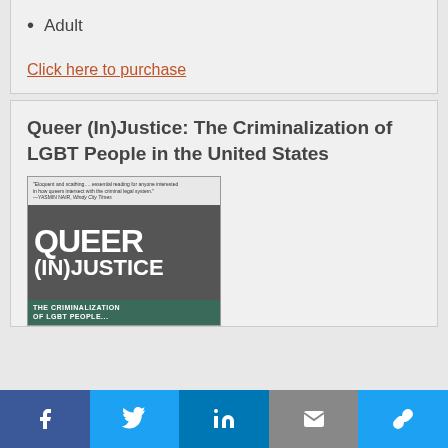Adult
Click here to purchase
Queer (In)Justice: The Criminalization of LGBT People in the United States
[Figure (photo): Book cover of Queer (In)Justice: The Criminalization of LGBT People in the United States. Dark cover with large white text reading QUEER (IN)JUSTICE and a green band at the bottom reading THE CRIMINALIZATION OF LGBT PEOPLE.]
Facebook · Twitter · LinkedIn · Email · Link share buttons